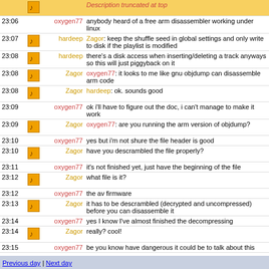| Time | Icon | Nick | Message |
| --- | --- | --- | --- |
| 23:06 |  | oxygen77 | anybody heard of a free arm disassembler working under linux |
| 23:07 | [icon] | hardeep | Zagor: keep the shuffle seed in global settings and only write to disk if the playlist is modified |
| 23:08 | [icon] | hardeep | there's a disk access when inserting/deleting a track anyways so this will just piggyback on it |
| 23:08 | [icon] | Zagor | oxygen77: it looks to me like gnu objdump can disassemble arm code |
| 23:08 | [icon] | Zagor | hardeep: ok. sounds good |
| 23:09 |  | oxygen77 | ok i'll have to figure out the doc, i can't manage to make it work |
| 23:09 | [icon] | Zagor | oxygen77: are you running the arm version of objdump? |
| 23:10 |  | oxygen77 | yes but i'm not shure the file header is good |
| 23:10 | [icon] | Zagor | have you descrambled the file properly? |
| 23:11 |  | oxygen77 | it's not finished yet, just have the beginning of the file |
| 23:12 | [icon] | Zagor | what file is it? |
| 23:12 |  | oxygen77 | the av firmware |
| 23:13 | [icon] | Zagor | it has to be descrambled (decrypted and uncompressed) before you can disassemble it |
| 23:14 |  | oxygen77 | yes I know I've almost finished the decompressing |
| 23:14 | [icon] | Zagor | really? cool! |
| 23:15 |  | oxygen77 | be you know have dangerous it could be to talk about this |
Previous day | Next day